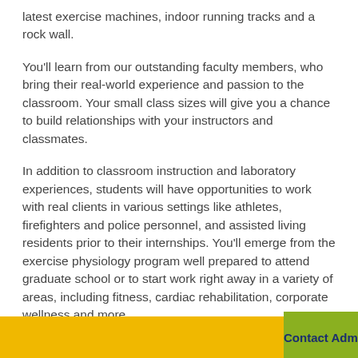latest exercise machines, indoor running tracks and a rock wall.
You'll learn from our outstanding faculty members, who bring their real-world experience and passion to the classroom. Your small class sizes will give you a chance to build relationships with your instructors and classmates.
In addition to classroom instruction and laboratory experiences, students will have opportunities to work with real clients in various settings like athletes, firefighters and police personnel, and assisted living residents prior to their internships. You'll emerge from the exercise physiology program well prepared to attend graduate school or to start work right away in a variety of areas, including fitness, cardiac rehabilitation, corporate wellness and more.
Contact Admissons